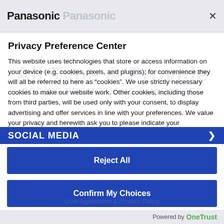Panasonic
Privacy Preference Center
This website uses technologies that store or access information on your device (e.g. cookies, pixels, and plugins); for convenience they will all be referred to here as “cookies”. We use strictly necessary cookies to make our website work. Other cookies, including those from third parties, will be used only with your consent, to display advertising and offer services in line with your preferences. We value your privacy and herewith ask you to please indicate your preferences below. You can read more about our cookies and your related rights (including to withdraw your consent) in our Cookie Policy and Privacy Policy.
More information
SOCIAL MEDIA
Reject All
Confirm My Choices
Powered by OneTrust